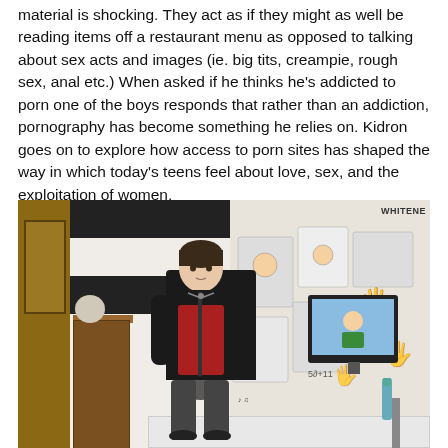material is shocking. They act as if they might as well be reading items off a restaurant menu as opposed to talking about sex acts and images (ie. big tits, creampie, rough sex, anal etc.) When asked if he thinks he's addicted to porn one of the boys responds that rather than an addiction, pornography has become something he relies on. Kidron goes on to explore how access to porn sites has shaped the way in which today's teens feel about love, sex, and the exploitation of women.
[Figure (photo): A young person with short dark hair wearing a black hoodie and red plaid outfit sits in a black office chair at a white desk with a computer monitor. Behind them is a wall covered in manga/anime drawings and black handprints, and a striped black and white wall. A wooden dresser is visible on the left side of the room. The text 'WHITENE' is partially visible on a poster in the upper right.]